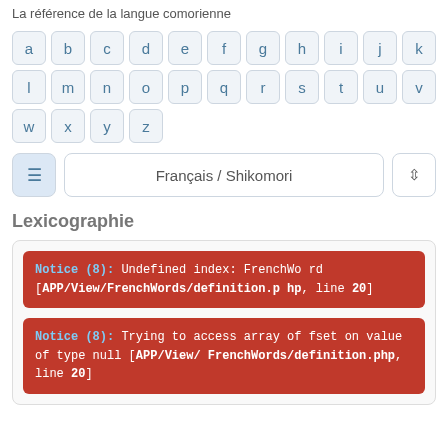La référence de la langue comorienne
[Figure (other): Alphabet keyboard grid showing letters a through z as individual key buttons]
[Figure (other): Control row with menu icon button, Français / Shikomori language selector button, and sort icon button]
Lexicographie
Notice (8): Undefined index: FrenchWord [APP/View/FrenchWords/definition.php, line 20]
Notice (8): Trying to access array offset on value of type null [APP/View/FrenchWords/definition.php, line 20]